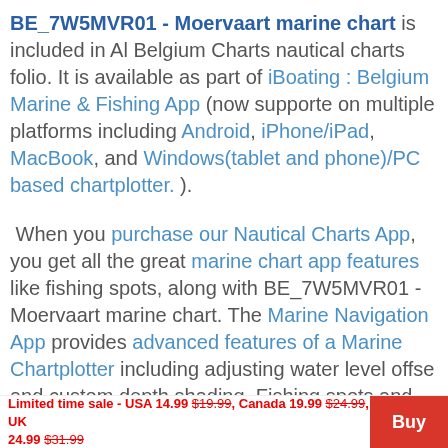BE_7W5MVR01 - Moervaart marine chart is included in All Belgium Charts nautical charts folio. It is available as part of iBoating : Belgium Marine & Fishing App (now supported on multiple platforms including Android, iPhone/iPad, MacBook, and Windows(tablet and phone)/PC based chartplotter. ).
When you purchase our Nautical Charts App, you get all the great marine chart app features like fishing spots, along with BE_7W5MVR01 - Moervaart marine chart. The Marine Navigation App provides advanced features of a Marine Chartplotter including adjusting water level offset and custom depth shading. Fishing spots and depth
Limited time sale - USA 14.99 $19.99, Canada 19.99 $24.99, UK 24.99 $31.99  [Buy]